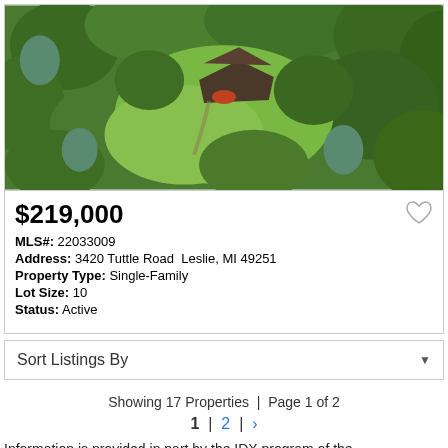[Figure (photo): Aerial drone photo of a single-family property surrounded by dense green trees, with a house and grassy clearing visible from above.]
$219,000
MLS#: 22033009
Address: 3420 Tuttle Road  Leslie, MI 49251
Property Type: Single-Family
Lot Size: 10
Status: Active
Sort Listings By
Showing 17 Properties | Page 1 of 2
1 | 2 | >
Information is provided in part by the IDX program of the